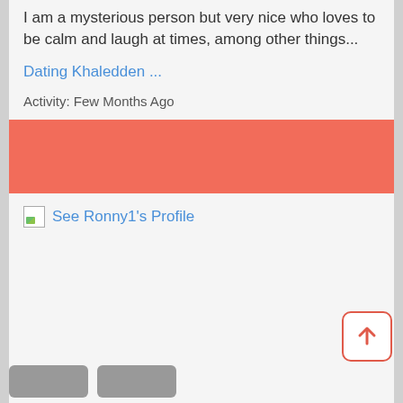I am a mysterious person but very nice who loves to be calm and laugh at times, among other things...
Dating Khaledden ...
Activity: Few Months Ago
[Figure (other): Red/salmon colored banner bar]
See Ronny1's Profile
[Figure (other): Back to top button: rounded square with upward arrow in red]